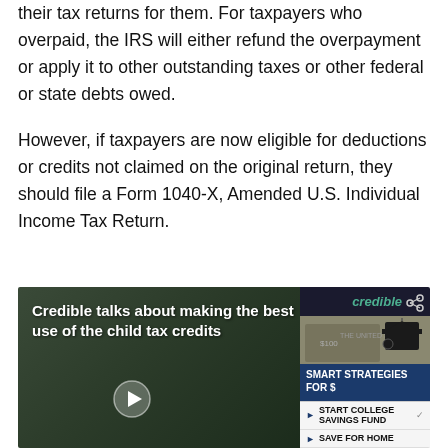their tax returns for them. For taxpayers who overpaid, the IRS will either refund the overpayment or apply it to other outstanding taxes or other federal or state debts owed.
However, if taxpayers are now eligible for deductions or credits not claimed on the original return, they should file a Form 1040-X, Amended U.S. Individual Income Tax Return.
[Figure (screenshot): Credible video thumbnail showing 'Credible talks about making the best use of the child tax credits' with a graduation cap on money imagery and a sidebar showing Smart Strategies menu items including START COLLEGE SAVINGS FUND and SAVE FOR HOME]